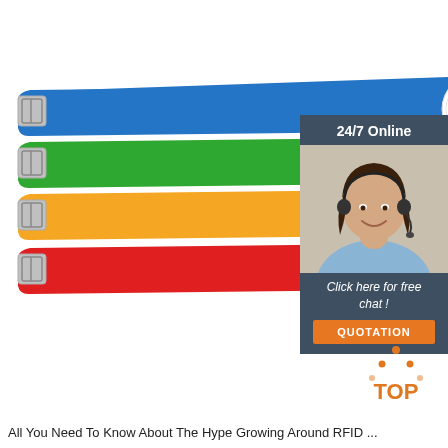[Figure (photo): Four colorful RFID silicone wristbands in blue, green, orange, and red, each with a white circular RFID chip labeled ((RFID)), arranged overlapping on a white background. On the right side, a customer service chat widget shows a smiling woman with a headset, '24/7 Online' header, 'Click here for free chat!' text, and an orange QUOTATION button.]
[Figure (logo): TOP logo with orange dot triangle above bold red-orange text 'TOP']
All You Need To Know About The Hype Growing Around RFID ...